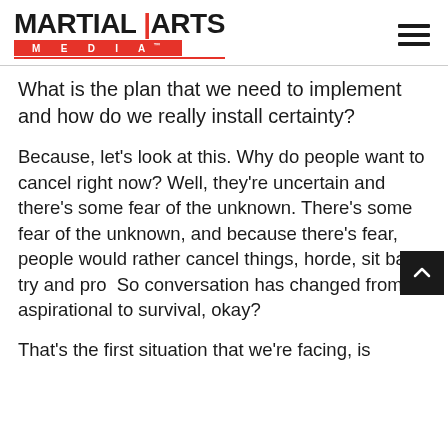MARTIAL ARTS MEDIA
What is the plan that we need to implement and how do we really install certainty?
Because, let's look at this. Why do people want to cancel right now? Well, they're uncertain and there's some fear of the unknown. There's some fear of the unknown, and because there's fear, people would rather cancel things, horde, sit back, try and pro... So conversation has changed from aspirational to survival, okay?
That's the first situation that we're facing, is